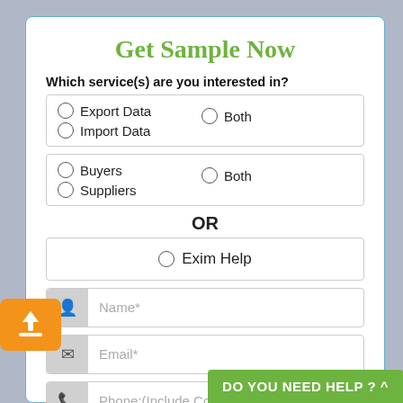Get Sample Now
Which service(s) are you interested in?
Export Data
Import Data
Both
Buyers
Suppliers
Both
OR
Exim Help
Name*
Email*
Phone:(Include Country Co...
DO YOU NEED HELP ? ^